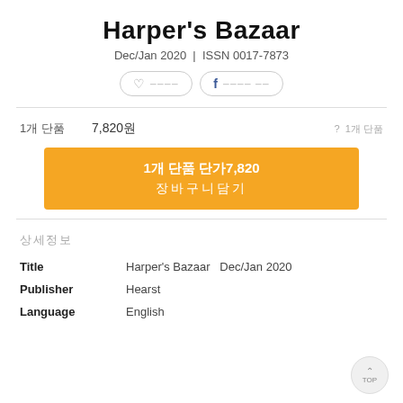Harper's Bazaar
Dec/Jan 2020 | ISSN 0017-7873
1개 단품  7,820원  ? 1개 단품
1개 단품 단가7,820 장바구니담기
상세정보
| Field | Value |
| --- | --- |
| Title | Harper's Bazaar  Dec/Jan 2020 |
| Publisher | Hearst |
| Language | English |